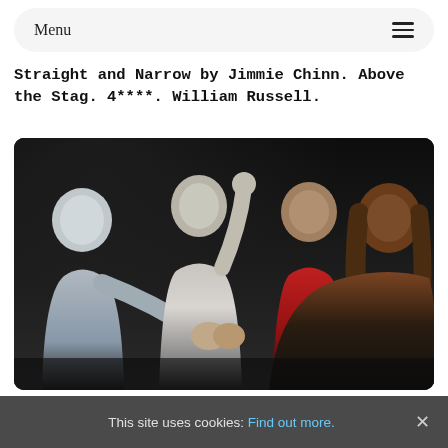Menu
Straight and Narrow by Jimmie Chinn. Above the Stag. 4****. William Russell.
[Figure (photo): Four men sitting/posing on stage, laughing and celebrating. From left: a man in a light blue shirt, a man in a white t-shirt with arms raised, a man in a red plaid shirt, and a man with long hair in a black top. They appear to be in a theatrical performance.]
This site uses cookies: Find out more.